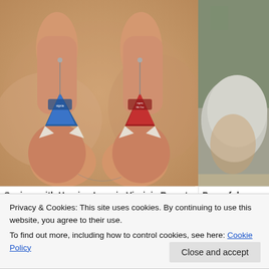[Figure (photo): Two small hearing aids (one blue, one red, both labeled Signia) held between fingers against a blurry beige/skin-toned background.]
[Figure (photo): Partial photo on the right side showing what appears to be a person with gray hair, partially cropped.]
Seniors with Hearing Loss in Virginia Regret Not Knowing This S...
Powerful...
Privacy & Cookies: This site uses cookies. By continuing to use this website, you agree to their use.
To find out more, including how to control cookies, see here: Cookie Policy